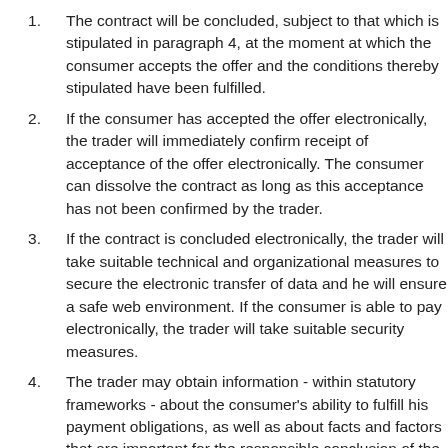The contract will be concluded, subject to that which is stipulated in paragraph 4, at the moment at which the consumer accepts the offer and the conditions thereby stipulated have been fulfilled.
If the consumer has accepted the offer electronically, the trader will immediately confirm receipt of acceptance of the offer electronically. The consumer can dissolve the contract as long as this acceptance has not been confirmed by the trader.
If the contract is concluded electronically, the trader will take suitable technical and organizational measures to secure the electronic transfer of data and he will ensure a safe web environment. If the consumer is able to pay electronically, the trader will take suitable security measures.
The trader may obtain information - within statutory frameworks - about the consumer's ability to fulfill his payment obligations, as well as about facts and factors that are important for the responsible conclusion of the distance contract. If that research